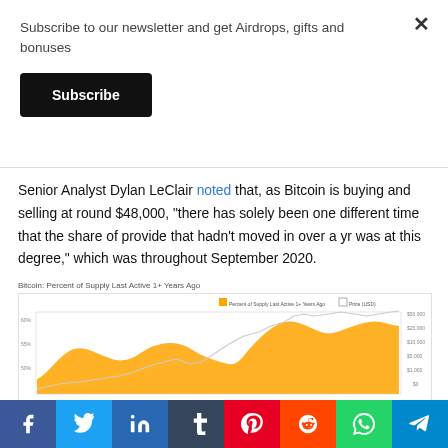Subscribe to our newsletter and get Airdrops, gifts and bonuses
Subscribe
Senior Analyst Dylan LeClair noted that, as Bitcoin is buying and selling at round $48,000, “there has solely been one different time that the share of provide that hadn’t moved in over a yr was at this degree,” which was throughout September 2020.
[Figure (continuous-plot): Bitcoin: Percent of Supply Last Active 1+ Years Ago — area chart showing orange filled area for percent of supply last active 1+ years ago and a white/grey line for Price (USD), spanning multiple years up to around 2022, with y-axis showing percentage and price labels on the right.]
Social share bar: Facebook, Twitter, LinkedIn, Tumblr, Pinterest, Reddit, WhatsApp, Telegram